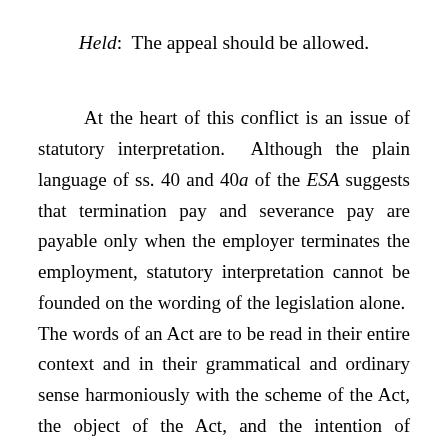Held: The appeal should be allowed.
At the heart of this conflict is an issue of statutory interpretation. Although the plain language of ss. 40 and 40a of the ESA suggests that termination pay and severance pay are payable only when the employer terminates the employment, statutory interpretation cannot be founded on the wording of the legislation alone. The words of an Act are to be read in their entire context and in their grammatical and ordinary sense harmoniously with the scheme of the Act, the object of the Act, and the intention of Parliament. Moreover, s. 10 of Ontario’s Interpretation Act provides that every Act “shall be deemed to be remedial” and